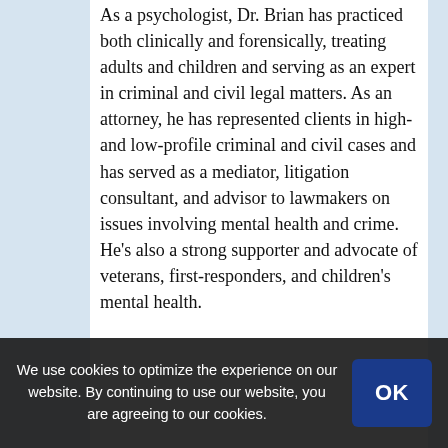As a psychologist, Dr. Brian has practiced both clinically and forensically, treating adults and children and serving as an expert in criminal and civil legal matters. As an attorney, he has represented clients in high- and low-profile criminal and civil cases and has served as a mediator, litigation consultant, and advisor to lawmakers on issues involving mental health and crime. He's also a strong supporter and advocate of veterans, first-responders, and children's mental health.

Dr. Brian has written numerous articles on psychological and legal topics including a regular Newsmax column, “The Dr. Is In,” as well as the book Stop Moaning, Start Owning: How Entitlement is Ruining America and How Personal Responsibility Can Fix It. He
We use cookies to optimize the experience on our website. By continuing to use our website, you are agreeing to our use of cookies.